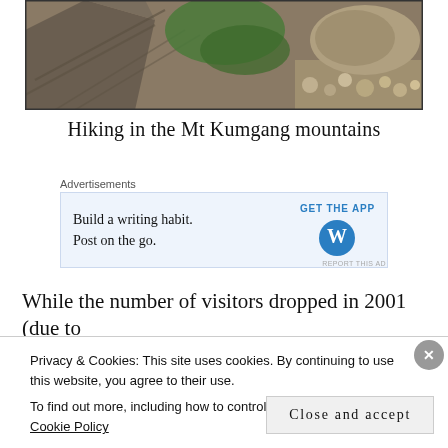[Figure (photo): Close-up photo of layered rock formations and stones with green vegetation, mountain landscape at Mt Kumgang]
Hiking in the Mt Kumgang mountains
Advertisements
[Figure (screenshot): Advertisement: Build a writing habit. Post on the go. GET THE APP with WordPress logo]
REPORT THIS AD
While the number of visitors dropped in 2001 (due to
Privacy & Cookies: This site uses cookies. By continuing to use this website, you agree to their use.
To find out more, including how to control cookies, see here: Cookie Policy
Close and accept